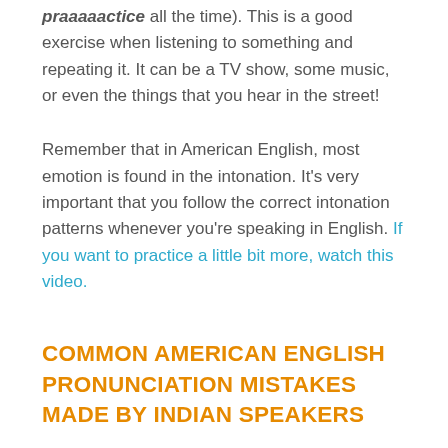praaaaactice all the time). This is a good exercise when listening to something and repeating it. It can be a TV show, some music, or even the things that you hear in the street!
Remember that in American English, most emotion is found in the intonation. It's very important that you follow the correct intonation patterns whenever you're speaking in English. If you want to practice a little bit more, watch this video.
COMMON AMERICAN ENGLISH PRONUNCIATION MISTAKES MADE BY INDIAN SPEAKERS